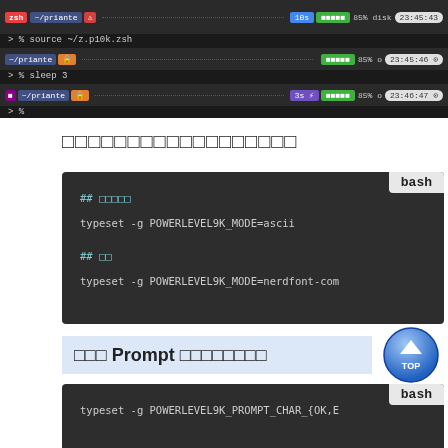[Figure (screenshot): Terminal screenshot showing three rows of zsh/tmux session with process bars, percentages, timestamps, and commands including 'source ~/.zshrc' and 'sleep 3']
□□□□□□□□□□□□□□□□□□
[Figure (screenshot): Dark code block with bash label showing shell commands: ## □□□□□, typeset -g POWERLEVEL9K_MODE=ascii, ## □□, typeset -g POWERLEVEL9K_MODE=nerdfont-com]
□□□ Prompt □□□□□□□□
[Figure (screenshot): Dark code block with bash label showing: typeset -g POWERLEVEL9K_PROMPT_CHAR_{OK,E]